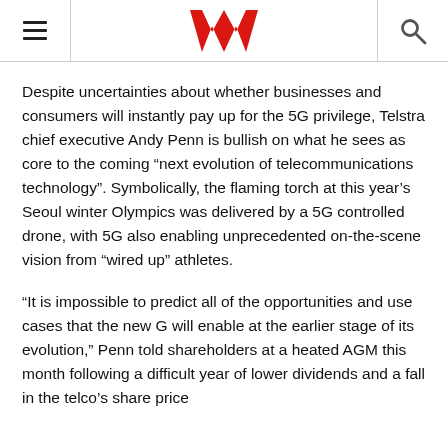Westpac logo with hamburger menu and search icon
Despite uncertainties about whether businesses and consumers will instantly pay up for the 5G privilege, Telstra chief executive Andy Penn is bullish on what he sees as core to the coming “next evolution of telecommunications technology”. Symbolically, the flaming torch at this year’s Seoul winter Olympics was delivered by a 5G controlled drone, with 5G also enabling unprecedented on-the-scene vision from “wired up” athletes.
“It is impossible to predict all of the opportunities and use cases that the new G will enable at the earlier stage of its evolution,” Penn told shareholders at a heated AGM this month following a difficult year of lower dividends and a fall in the telco’s share price